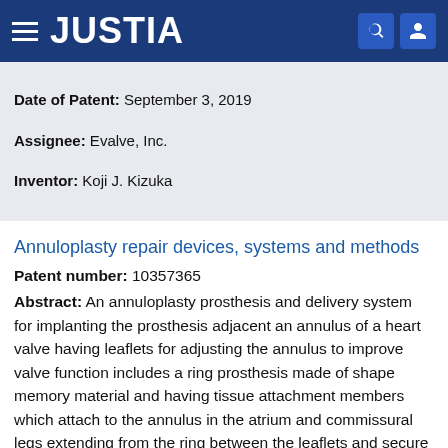JUSTIA
Date of Patent: September 3, 2019
Assignee: Evalve, Inc.
Inventor: Koji J. Kizuka
Annuloplasty repair devices, systems and methods
Patent number: 10357365
Abstract: An annuloplasty prosthesis and delivery system for implanting the prosthesis adjacent an annulus of a heart valve having leaflets for adjusting the annulus to improve valve function includes a ring prosthesis made of shape memory material and having tissue attachment members which attach to the annulus in the atrium and commissural legs extending from the ring between the leaflets and secure against the underside of the valve in the ventricle. The prosthesis is carried via an orientation loop and attaches to the heart tissue such that when the prosthesis is manipulated an